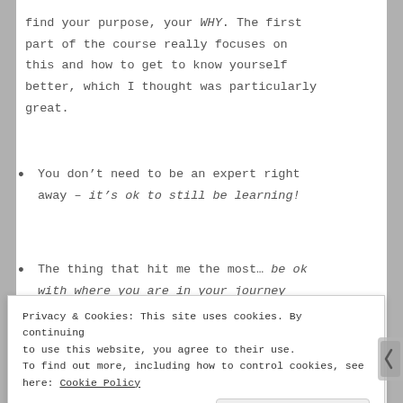find your purpose, your WHY. The first part of the course really focuses on this and how to get to know yourself better, which I thought was particularly great.
You don't need to be an expert right away – it's ok to still be learning!
The thing that hit me the most… be ok with where you are in your journey
[Figure (photo): Partial view of a person with brown/blonde highlighted hair against a beige/tan background]
Privacy & Cookies: This site uses cookies. By continuing to use this website, you agree to their use.
To find out more, including how to control cookies, see here: Cookie Policy

Close and accept